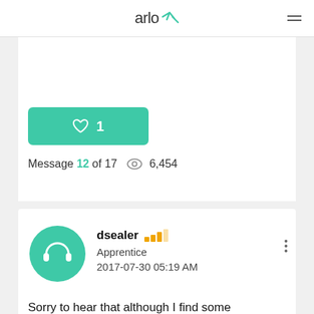arlo
[Figure (other): Like button showing heart icon and count of 1 on green background]
Message 12 of 17  👁 6,454
[Figure (other): User avatar with headphones icon on teal circle background]
dsealer Apprentice 2017-07-30 05:19 AM
Sorry to hear that although I find some consolation knowing I'm not the only person experiencing this problem.  I wonder if there